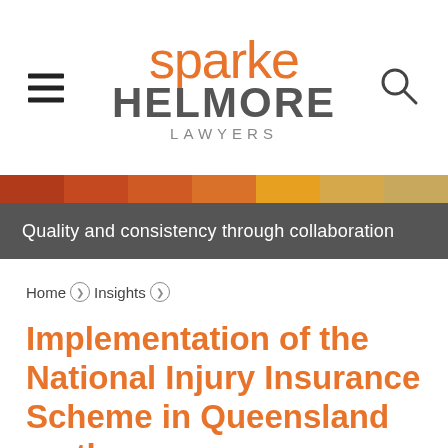[Figure (logo): Sparke Helmore Lawyers logo with hamburger menu and search icon]
[Figure (infographic): Horizontal color band with segments: dark red, medium red, orange-red, orange, gold, tan]
Quality and consistency through collaboration
Home › Insights ›
Implementation of the National Injury Insurance Scheme in Queensland on the